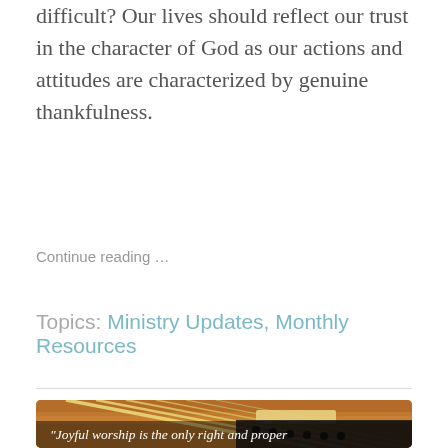difficult? Our lives should reflect our trust in the character of God as our actions and attitudes are characterized by genuine thankfulness.
Continue reading …
Topics: Ministry Updates, Monthly Resources
[Figure (photo): Close-up photograph of acoustic guitar strings and bridge with warm brown wooden body]
"Joyful worship is the only right and proper